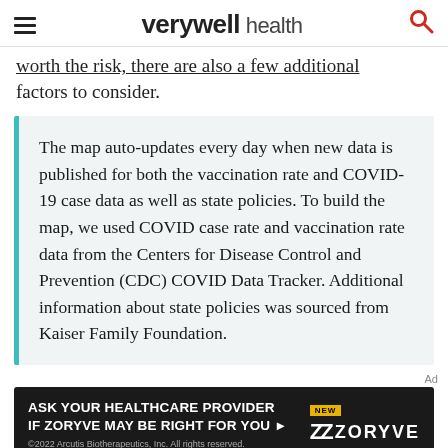verywell health
worth the risk, there are also a few additional factors to consider.
The map auto-updates every day when new data is published for both the vaccination rate and COVID-19 case data as well as state policies. To build the map, we used COVID case rate and vaccination rate data from the Centers for Disease Control and Prevention (CDC) COVID Data Tracker. Additional information about state policies was sourced from Kaiser Family Foundation.
Ad
[Figure (illustration): Advertisement banner for Zoryve (roflumilast cream 0.3%). Dark background with white text reading 'ASK YOUR HEALTHCARE PROVIDER IF ZORYVE MAY BE RIGHT FOR YOU' with a yellow 'NEW' badge and the Zoryve logo. Small copyright text: '©2022 Arcutis Biotherapeutics, Inc. All rights reserved. CGM-ARQ-151-2200061 08/2022']